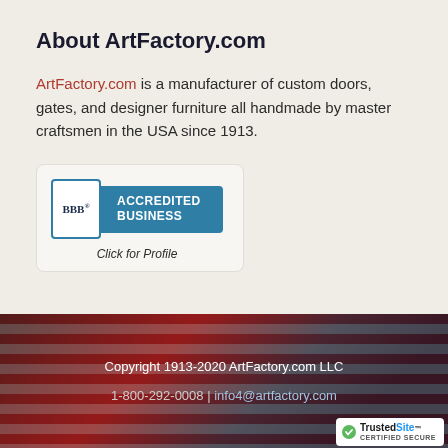About ArtFactory.com
ArtFactory.com is a manufacturer of custom doors, gates, and designer furniture all handmade by master craftsmen in the USA since 1913.
[Figure (logo): BBB Accredited Business badge with 'Click for Profile' text below]
Copyright 1913-2020 ArtFactory.com LLC | 1-800-292-0008 | info4@artfactory.com
[Figure (logo): TrustedSite Certified Secure badge]